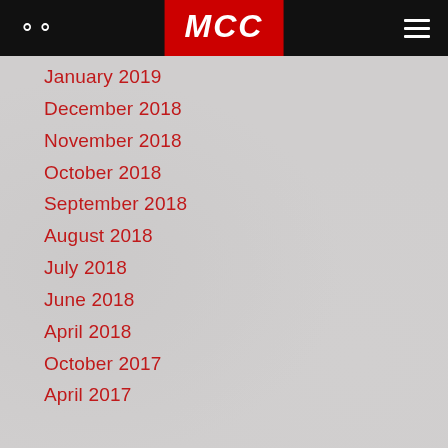MCC
January 2019
December 2018
November 2018
October 2018
September 2018
August 2018
July 2018
June 2018
April 2018
October 2017
April 2017